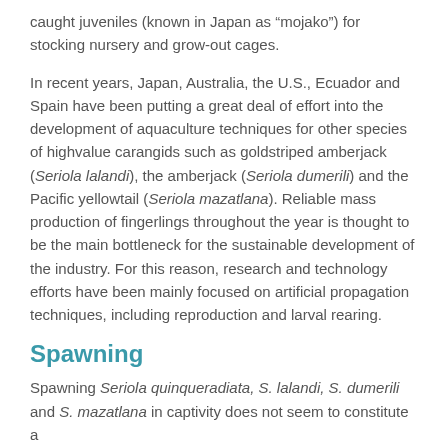caught juveniles (known in Japan as “mojako”) for stocking nursery and grow-out cages.
In recent years, Japan, Australia, the U.S., Ecuador and Spain have been putting a great deal of effort into the development of aquaculture techniques for other species of highvalue carangids such as goldstriped amberjack (Seriola lalandi), the amberjack (Seriola dumerili) and the Pacific yellowtail (Seriola mazatlana). Reliable mass production of fingerlings throughout the year is thought to be the main bottleneck for the sustainable development of the industry. For this reason, research and technology efforts have been mainly focused on artificial propagation techniques, including reproduction and larval rearing.
Spawning
Spawning Seriola quinqueradiata, S. lalandi, S. dumerili and S. mazatlana in captivity does not seem to constitute a